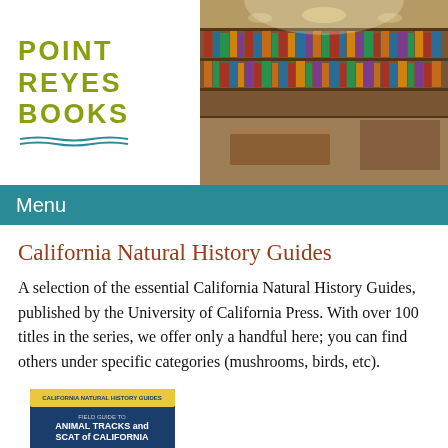[Figure (photo): Point Reyes Books logo on left with green bold text 'POINT REYES BOOKS' and teal wave lines, next to a bookstore interior photo showing shelves filled with books, warm lighting, and a chandelier.]
Menu
California Natural History Guides
A selection of the essential California Natural History Guides, published by the University of California Press. With over 100 titles in the series, we offer only a handful here; you can find others under specific categories (mushrooms, birds, etc).
[Figure (photo): Book cover of 'Field Guide to Animal Tracks and Scat of California' from the California Natural History Guides series, showing a blue cover with animal paw prints in snow.]